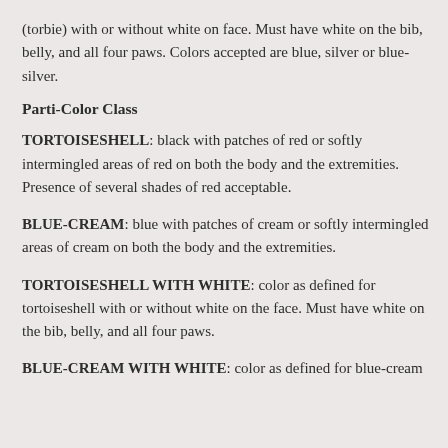(torbie) with or without white on face. Must have white on the bib, belly, and all four paws. Colors accepted are blue, silver or blue-silver.
Parti-Color Class
TORTOISESHELL: black with patches of red or softly intermingled areas of red on both the body and the extremities. Presence of several shades of red acceptable.
BLUE-CREAM: blue with patches of cream or softly intermingled areas of cream on both the body and the extremities.
TORTOISESHELL WITH WHITE: color as defined for tortoiseshell with or without white on the face. Must have white on the bib, belly, and all four paws.
BLUE-CREAM WITH WHITE: color as defined for blue-cream